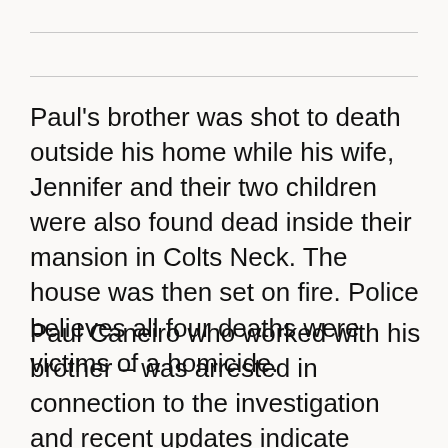Paul’s brother was shot to death outside his home while his wife, Jennifer and their two children were also found dead inside their mansion in Colts Neck. The house was then set on fire. Police believes all four deaths were victims of a homicide.
Paul Caneiro who worked with his brother – was arrested in connection to the investigation and recent updates indicate authorities believe it was his doing. The